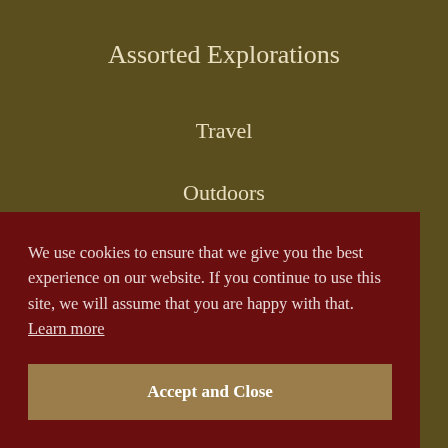Assorted Explorations
Travel
Outdoors
Photos
We use cookies to ensure that we give you the best experience on our website. If you continue to use this site, we will assume that you are happy with that.  Learn more
Accept and Close